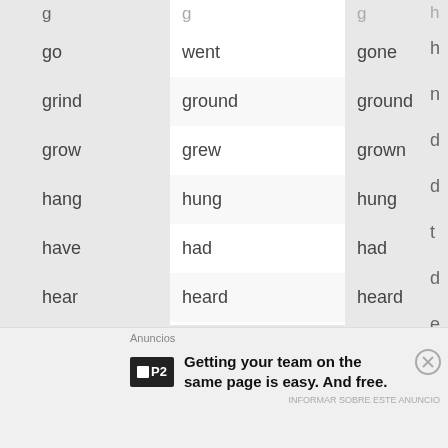| Base form | Past simple | Past participle |
| --- | --- | --- |
| go | went | gone |
| grind | ground | ground |
| grow | grew | grown |
| hang | hung | hung |
| have | had | had |
| hear | heard | heard |
| hide | hid | hidden |
| hit | hit | hit |
| hold | held | held |
Anuncios
Getting your team on the same page is easy. And free.